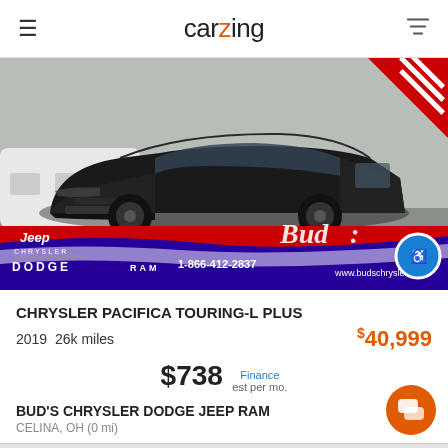carzing
[Figure (photo): Black Chrysler Pacifica Touring-L Plus minivan on a dealer lot, with Jeep/Chrysler/Dodge/RAM dealer branding banner at the bottom showing 1-866-412-2837 and www.budschrysler website, and a red corner badge in the top right]
CHRYSLER PACIFICA TOURING-L PLUS
2019  26k miles
$40,999
$738 Finance est per mo.
BUD'S CHRYSLER DODGE JEEP RAM
CELINA, OH (0 mi)